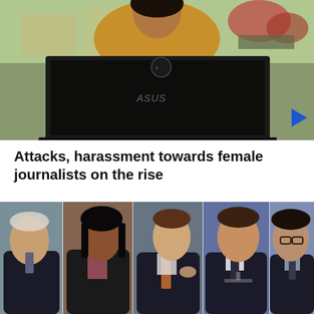[Figure (photo): Person sitting behind an open ASUS laptop outdoors, photographed from front showing the back of the laptop screen with a sticker on it. Person is wearing a yellow/mustard top. Outdoor setting with greenery and flowers visible in background.]
Attacks, harassment towards female journalists on the rise
[Figure (photo): Five politicians or public figures shown in a composite photo strip: an older man on left in dark suit, a South Asian woman in dark blazer, a man with brown tie gesturing, a man speaking at a podium, and a man with glasses speaking.]